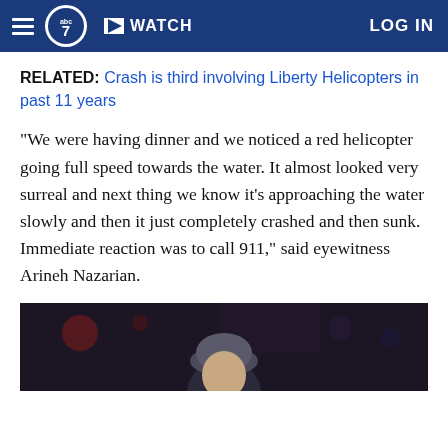abc7 WATCH LOG IN
RELATED: Crash is third involving Liberty Helicopters in past 11 years
"We were having dinner and we noticed a red helicopter going full speed towards the water. It almost looked very surreal and next thing we know it's approaching the water slowly and then it just completely crashed and then sunk. Immediate reaction was to call 911," said eyewitness Arineh Nazarian.
[Figure (photo): Photo of a person wearing a knit hat, dark background with restaurant/bar lighting visible]